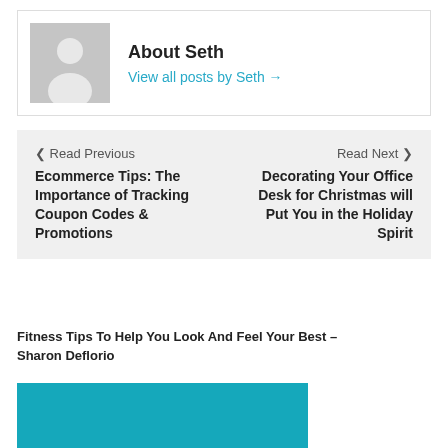[Figure (illustration): Author avatar placeholder: grey silhouette of a person on grey background]
About Seth
View all posts by Seth →
❮ Read Previous
Ecommerce Tips: The Importance of Tracking Coupon Codes & Promotions
Read Next ❯
Decorating Your Office Desk for Christmas will Put You in the Holiday Spirit
Fitness Tips To Help You Look And Feel Your Best – Sharon Deflorio
[Figure (illustration): Teal/cyan coloured image block partially visible at bottom of page]